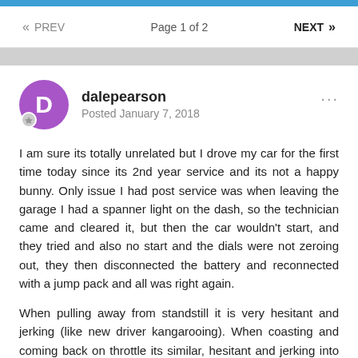« PREV   Page 1 of 2   NEXT »
dalepearson
Posted January 7, 2018
I am sure its totally unrelated but I drove my car for the first time today since its 2nd year service and its not a happy bunny. Only issue I had post service was when leaving the garage I had a spanner light on the dash, so the technician came and cleared it, but then the car wouldn't start, and they tried and also no start and the dials were not zeroing out, they then disconnected the battery and reconnected with a jump pack and all was right again.
When pulling away from standstill it is very hesitant and jerking (like new driver kangarooing). When coasting and coming back on throttle its similar, hesitant and jerking into acceleration.
if you keep it floored and accelerate hard and move quick through